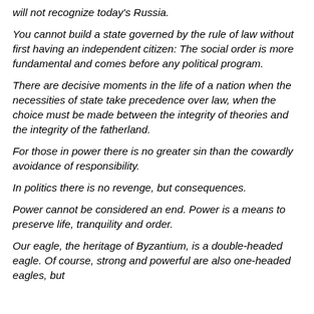will not recognize today's Russia.
You cannot build a state governed by the rule of law without first having an independent citizen: The social order is more fundamental and comes before any political program.
There are decisive moments in the life of a nation when the necessities of state take precedence over law, when the choice must be made between the integrity of theories and the integrity of the fatherland.
For those in power there is no greater sin than the cowardly avoidance of responsibility.
In politics there is no revenge, but consequences.
Power cannot be considered an end. Power is a means to preserve life, tranquility and order.
Our eagle, the heritage of Byzantium, is a double-headed eagle. Of course, strong and powerful are also one-headed eagles, but